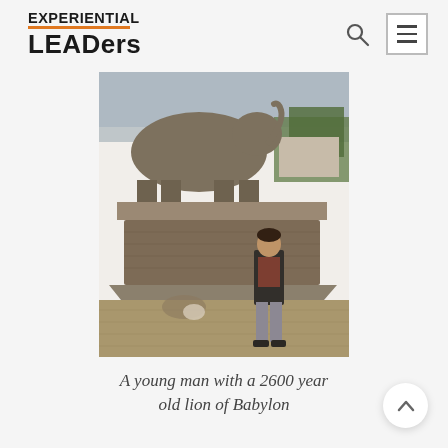EXPERIENTIAL LEADers
[Figure (photo): Vintage color photograph of a young man standing in front of the Lion of Babylon statue, a large ancient stone lion sculpture mounted on a pedestal, with palm trees visible in the background and a clear sky.]
A young man with a 2600 year old lion of Babylon